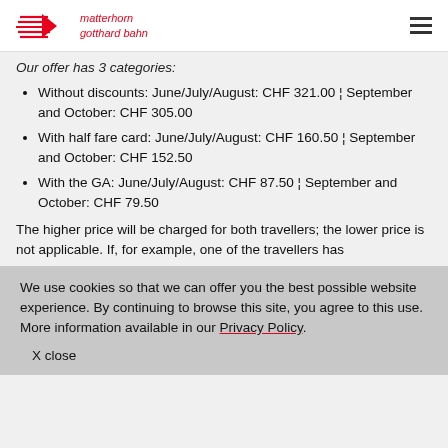matterhorn gotthard bahn
Our offer has 3 categories:
Without discounts: June/July/August: CHF 321.00 ¦ September and October: CHF 305.00
With half fare card: June/July/August: CHF 160.50 ¦ September and October: CHF 152.50
With the GA: June/July/August: CHF 87.50 ¦ September and October: CHF 79.50
The higher price will be charged for both travellers; the lower price is not applicable. If, for example, one of the travellers has
We use cookies so that we can offer you the best possible website experience. By continuing to browse this site, you agree to this use. More information available in our Privacy Policy.
X close